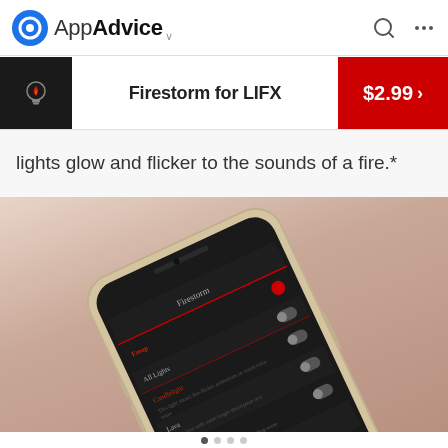AppAdvice
Firestorm for LIFX  $2.99
lights glow and flicker to the sounds of a fire.*
[Figure (screenshot): iPhone showing the Firestorm for LIFX app interface with a dark theme, listing multiple lights with toggle switches, displayed at an angle on a warm beige/pink background]